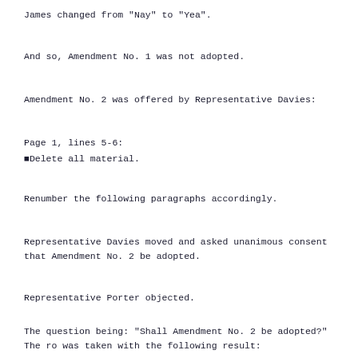James changed from "Nay" to "Yea".
And so, Amendment No. 1 was not adopted.
Amendment No. 2 was offered by Representative Davies:
Page 1, lines 5-6:
•Delete all material.
Renumber the following paragraphs accordingly.
Representative Davies moved and asked unanimous consent that Amendment No. 2 be adopted.
Representative Porter objected.
The question being: "Shall Amendment No. 2 be adopted?" The ro was taken with the following result: